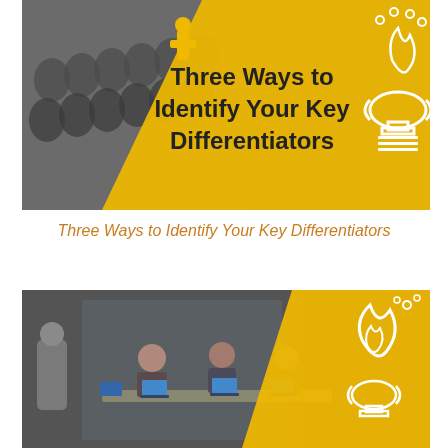[Figure (illustration): Cover image with yellow/amber diagonal banner overlay showing text 'Three Ways to Identify Your Key Differentiators', with blurred audience figures on left side and a white illustrated flame/torch icon on the right on yellow background]
Three Ways to Identify Your Key Differentiators
[Figure (photo): Photo of a business meeting scene with people sitting around a table with laptops, with a yellow diagonal overlay on the right side containing a white illustrated flame icon]